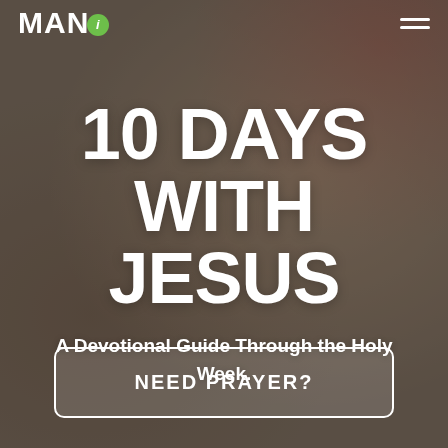MAN (i logo) [hamburger menu]
10 DAYS WITH JESUS
A Devotional Guide Through the Holy Week.
NEED PRAYER?